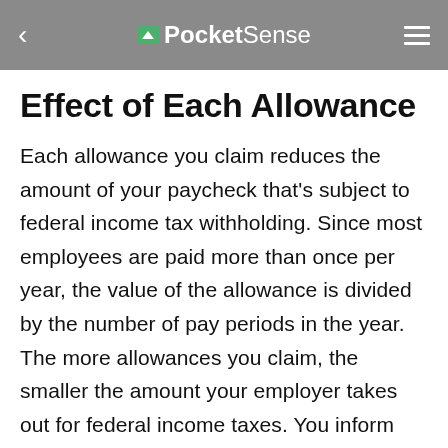PocketSense
Effect of Each Allowance
Each allowance you claim reduces the amount of your paycheck that's subject to federal income tax withholding. Since most employees are paid more than once per year, the value of the allowance is divided by the number of pay periods in the year. The more allowances you claim, the smaller the amount your employer takes out for federal income taxes. You inform your employer how many allowances you want to claim by completing a Form W-4. As your life